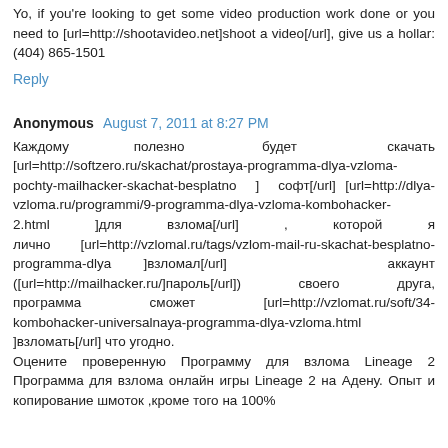Yo, if you're looking to get some video production work done or you need to [url=http://shootavideo.net]shoot a video[/url], give us a hollar: (404) 865-1501
Reply
Anonymous  August 7, 2011 at 8:27 PM
Каждому полезно будет скачать [url=http://softzero.ru/skachat/prostaya-programma-dlya-vzloma-pochty-mailhacker-skachat-besplatno ] софт[/url] [url=http://dlya-vzloma.ru/programmi/9-programma-dlya-vzloma-kombohacker-2.html ]для взлома[/url] , которой я лично [url=http://vzlomal.ru/tags/vzlom-mail-ru-skachat-besplatno-programma-dlya ]взломал[/url] аккаунт ([url=http://mailhacker.ru/]пароль[/url]) своего друга, программа сможет [url=http://vzlomat.ru/soft/34-kombohacker-universalnaya-programma-dlya-vzloma.html ]взломать[/url] что угодно.
Оцените проверенную Программу для взлома Lineage 2 Программа для взлома онлайн игры Lineage 2 на Адену. Опыт и копирование шмоток ,кроме того на 100%